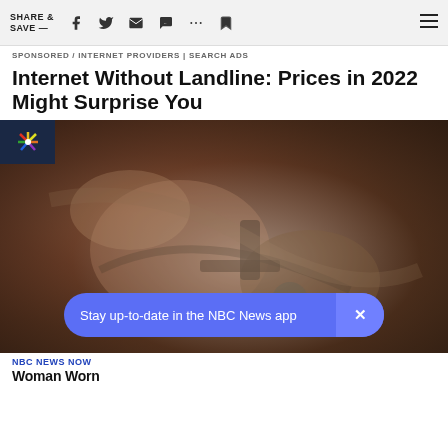SHARE & SAVE —
SPONSORED / INTERNET PROVIDERS | SEARCH ADS
Internet Without Landline: Prices in 2022 Might Surprise You
[Figure (photo): Close-up photo of mechanical parts, appears to be a machine component with metal parts in brown/rust tones. NBC News logo overlay in top-left on dark navy background.]
Stay up-to-date in the NBC News app
NBC NEWS NOW